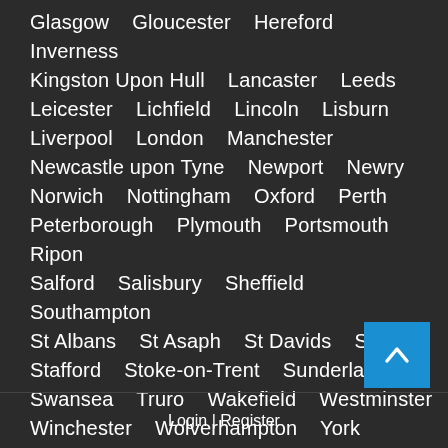Glasgow   Gloucester   Hereford   Inverness   Kingston Upon Hull   Lancaster   Leeds   Leicester   Lichfield   Lincoln   Lisburn   Liverpool   London   Manchester   Newcastle upon Tyne   Newport   Newry   Norwich   Nottingham   Oxford   Perth   Peterborough   Plymouth   Portsmouth   Ripon   Salford   Salisbury   Sheffield   Southampton   St Albans   St Asaph   St Davids   Stirling   Stafford   Stoke-on-Trent   Sunderland   Swansea   Truro   Wakefield   Westminster   Winchester   Wolverhampton   York
Login | Register